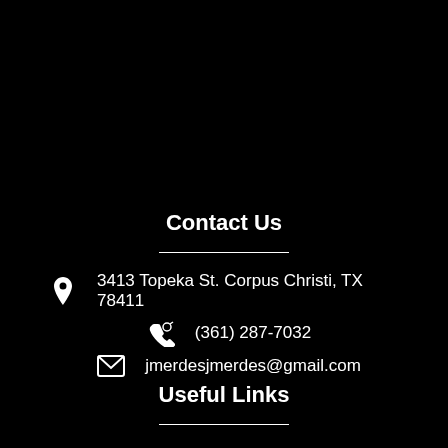Contact Us
3413 Topeka St. Corpus Christi, TX 78411
(361) 287-7032
jmerdesjmerdes@gmail.com
Useful Links